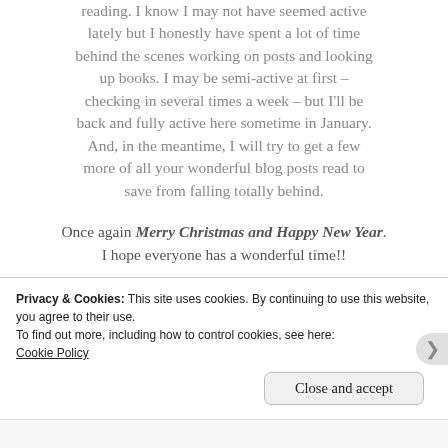reading. I know I may not have seemed active lately but I honestly have spent a lot of time behind the scenes working on posts and looking up books. I may be semi-active at first – checking in several times a week – but I'll be back and fully active here sometime in January. And, in the meantime, I will try to get a few more of all your wonderful blog posts read to save from falling totally behind.
Once again Merry Christmas and Happy New Year. I hope everyone has a wonderful time!!
Privacy & Cookies: This site uses cookies. By continuing to use this website, you agree to their use.
To find out more, including how to control cookies, see here:
Cookie Policy
Close and accept